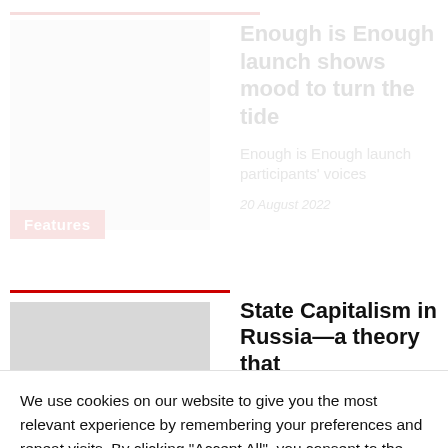[Figure (photo): Faded article card with pink top line and image placeholder on left, Features badge]
Enough is Enough launch shows mood to turn the tide
Enough is Enough launch participants' voices
20 August 2022
[Figure (photo): Partially visible article image with red horizontal line above]
State Capitalism in Russia—a theory that
We use cookies on our website to give you the most relevant experience by remembering your preferences and repeat visits. By clicking "Accept All", you consent to the use of ALL the cookies. However, you may visit "Cookie Settings" to provide a controlled consent.